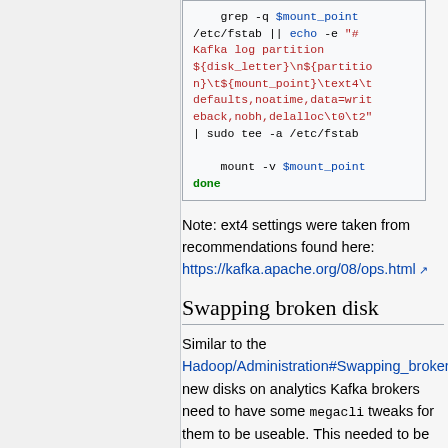[Figure (other): Shell script code block showing grep, echo, fstab, mount commands with syntax highlighting]
Note: ext4 settings were taken from recommendations found here: https://kafka.apache.org/08/ops.html
Swapping broken disk
Similar to the Hadoop/Administration#Swapping_broken_ new disks on analytics Kafka brokers need to have some megacli tweaks for them to be useable. This needed to be